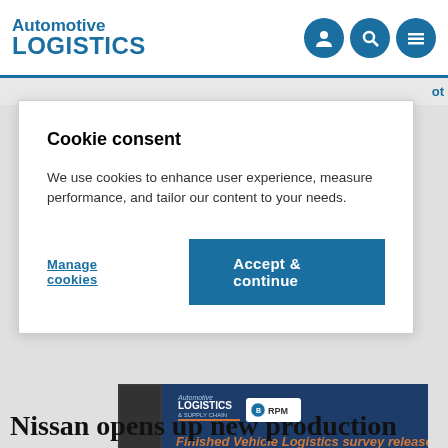Automotive LOGISTICS
Cookie consent
We use cookies to enhance user experience, measure performance, and tailor our content to your needs.
Manage cookies
Accept & continue
[Figure (screenshot): Automotive Logistics & Supply Chain banner with RPM logo and text 'Finished Vehicle Logistics survey release']
Nissan opens up new production